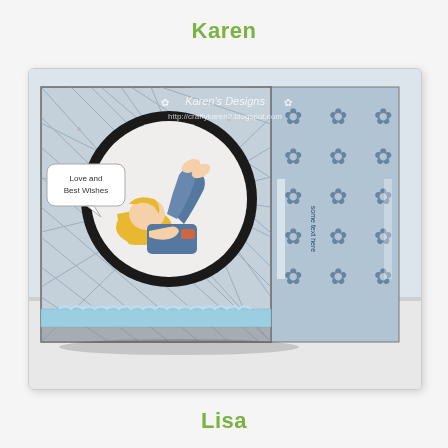Karen
[Figure (photo): A handmade greeting card shown open at an angle. The front panel features a blue argyle/patchwork pattern background with a large black circular frame containing an illustration of a blonde girl lying on her stomach wearing jeans, with her feet up. A speech bubble reads 'Love and Best Wishes'. A light blue ribbon with ruffled trim runs along the bottom of the card. The right inside panel shows a blue floral/daisy pattern. A watermark reads 'Karen's Designs' with a blog URL.]
Lisa